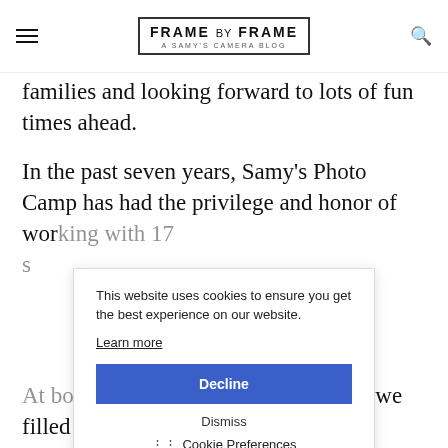FRAME BY FRAME — A SAMY'S CAMERA BLOG
families and looking forward to lots of fun times ahead.
In the past seven years, Samy's Photo Camp has had the privilege and honor of working with 17 s[tudents]...
At both Franklin and Good Shepherd, we filled (and exceeded) our max number of students – always a good start. At all my schools this semester, I met truly special, bright and talented kids, and was overjoyed to be reunited
[Figure (other): Cookie consent popup overlay with 'Learn more' link, 'Decline' blue button, 'Dismiss' text, and 'Cookie Preferences' link with settings icon]